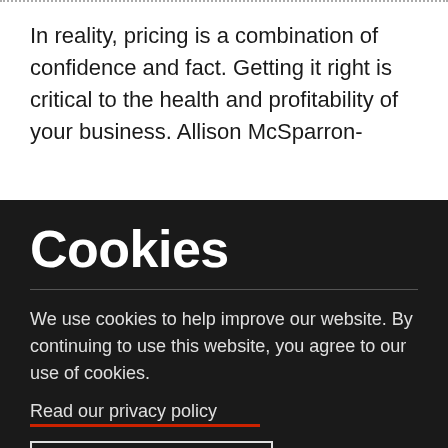In reality, pricing is a combination of confidence and fact. Getting it right is critical to the health and profitability of your business. Allison McSparron-
Cookies
We use cookies to help improve our website. By continuing to use this website, you agree to our use of cookies.
Read our privacy policy
Accept and close  x